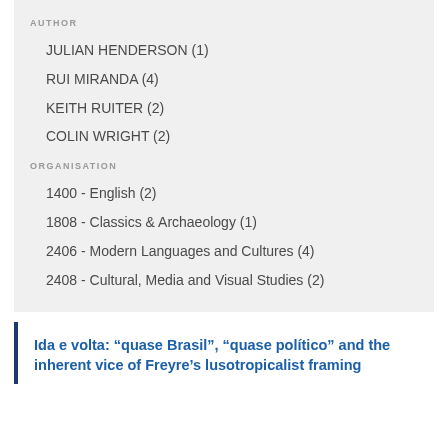AUTHOR
JULIAN HENDERSON (1)
RUI MIRANDA (4)
KEITH RUITER (2)
COLIN WRIGHT (2)
ORGANISATION
1400 - English (2)
1808 - Classics & Archaeology (1)
2406 - Modern Languages and Cultures (4)
2408 - Cultural, Media and Visual Studies (2)
Ida e volta: “quase Brasil”, “quase político” and the inherent vice of Freyre’s lusotropicalist framing